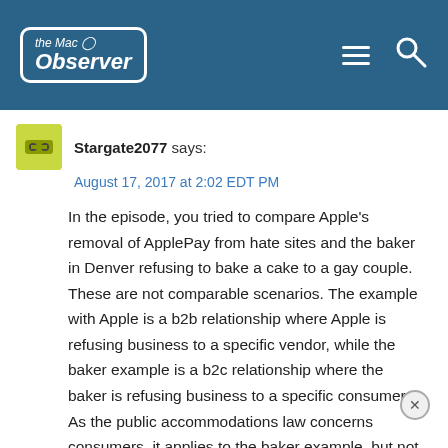[Figure (logo): The Mac Observer logo with power button icon, white text on dark blue header bar with hamburger menu and search icon]
Stargate2077 says:
August 17, 2017 at 2:02 EDT PM
In the episode, you tried to compare Apple's removal of ApplePay from hate sites and the baker in Denver refusing to bake a cake to a gay couple. These are not comparable scenarios. The example with Apple is a b2b relationship where Apple is refusing business to a specific vendor, while the baker example is a b2c relationship where the baker is refusing business to a specific consumer. As the public accommodations law concerns consumers, it applies to the baker example, but not the Apple example. The only way Apple would run afoul of public accommodations law is if they refused to